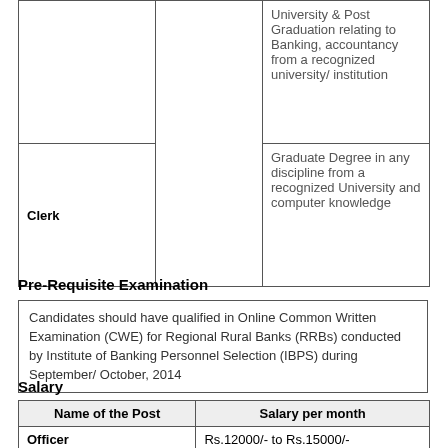| Name of Post |  | Qualification |
| --- | --- | --- |
|  |  | University & Post Graduation relating to Banking, accountancy from a recognized university/ institution |
| Clerk |  | Graduate Degree in any discipline from a recognized University and computer knowledge |
Pre-Requisite Examination
| Candidates should have qualified in Online Common Written Examination (CWE) for Regional Rural Banks (RRBs) conducted by Institute of Banking Personnel Selection (IBPS) during September/ October, 2014 |
Salary
| Name of the Post | Salary per month |
| --- | --- |
| Officer | Rs.12000/- to Rs.15000/- |
| Clerk | Rs.10000/- to Rs.12000/- |